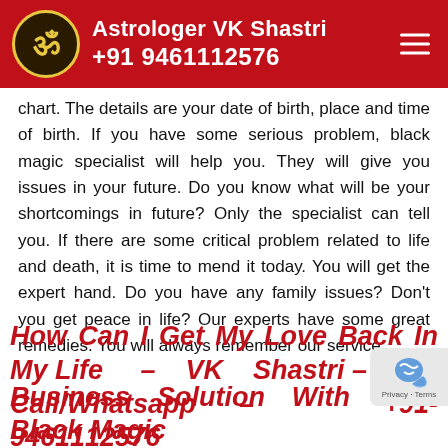Astrologer VK Shastri +91 9461112576
chart. The details are your date of birth, place and time of birth. If you have some serious problem, black magic specialist will help you. They will give you issues in your future. Do you know what will be your shortcomings in future? Only the specialist can tell you. If there are some critical problem related to life and death, it is time to mend it today. You will get the expert hand. Do you have any family issues? Don't you get peace in life? Our experts have some great remedies. You will always remember our service.
How Can I Get My Love Back In My Life – VK Shastri – Call/Whatsapp – +91-9461112576
Business Solution With Black Magic